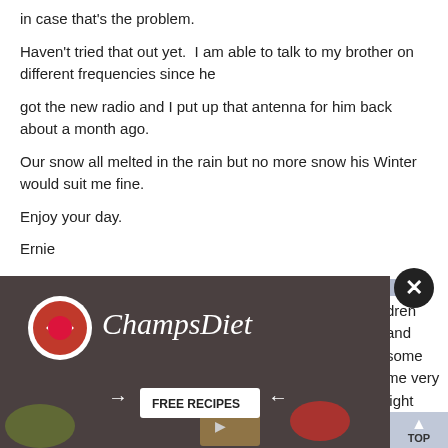in case that's the problem.
Haven't tried that out yet.  I am able to talk to my brother on different frequencies since he
got the new radio and I put up that antenna for him back about a month ago.
Our snow all melted in the rain but no more snow his Winter would suit me fine.
Enjoy your day.
Ernie
13391 of 14053 to Cocoa60 ✔   Re: msg 13390
From: Kittyarnold
[Figure (screenshot): ChampsDiet advertisement banner with logo, brand name in cursive, free recipes button, food imagery, and a close button]
dren and some me very light